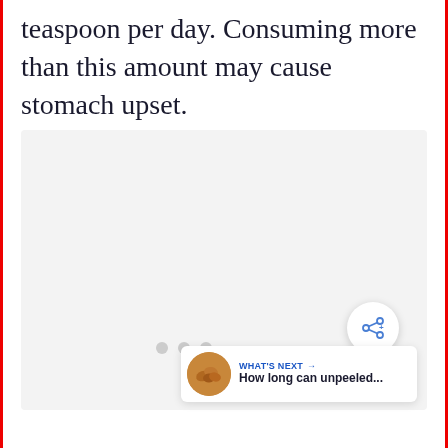teaspoon per day. Consuming more than this amount may cause stomach upset.
[Figure (other): Advertisement placeholder with three gray dots and a share button (circular white button with share/add icon). A 'What's Next' card in the bottom right shows a thumbnail of nuts and text 'How long can unpeeled...']